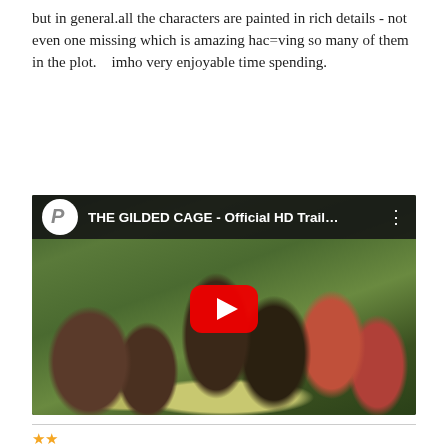but in general.all the characters are painted in rich details - not even one missing which is amazing hac=ving so many of them in the plot.    imho very enjoyable time spending.
[Figure (screenshot): YouTube video thumbnail for 'THE GILDED CAGE - Official HD Trail...' showing a group of people seated and standing around an outdoor table in a garden setting, with a red YouTube play button in the center and the YouTube logo with channel icon in the top bar.]
NIGHT TRAIN TO LISBON